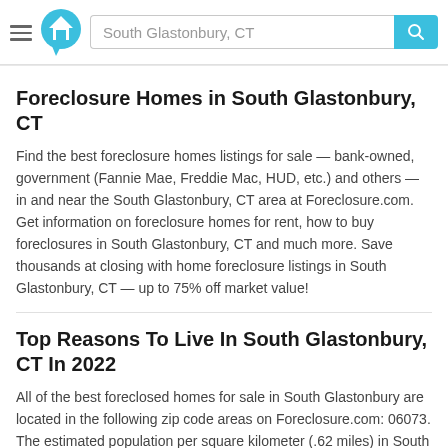South Glastonbury, CT
Foreclosure Homes in South Glastonbury, CT
Find the best foreclosure homes listings for sale — bank-owned, government (Fannie Mae, Freddie Mac, HUD, etc.) and others — in and near the South Glastonbury, CT area at Foreclosure.com. Get information on foreclosure homes for rent, how to buy foreclosures in South Glastonbury, CT and much more. Save thousands at closing with home foreclosure listings in South Glastonbury, CT — up to 75% off market value!
Top Reasons To Live In South Glastonbury, CT In 2022
All of the best foreclosed homes for sale in South Glastonbury are located in the following zip code areas on Foreclosure.com: 06073. The estimated population per square kilometer (.62 miles) in South Glastonbury is 468.2.